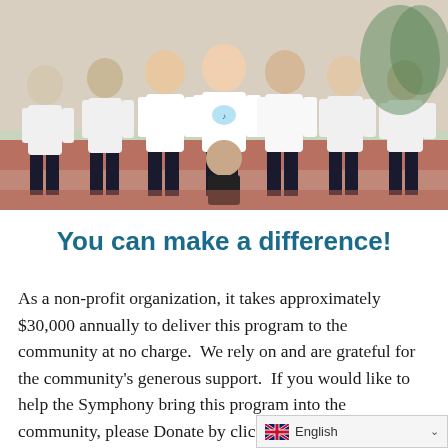[Figure (photo): Group photo of people wearing matching white t-shirts with a colorful logo/design, posing together outdoors on what appears to be a brick or tiled surface with greenery in the background.]
You can make a difference!
As a non-profit organization, it takes approximately $30,000 annually to deliver this program to the community at no charge.  We rely on and are grateful for the community's generous support.  If you would like to help the Symphony bring this program into the community, please Donate by clicking the button below and select your acknowledgment to be attributed to The Music Van.